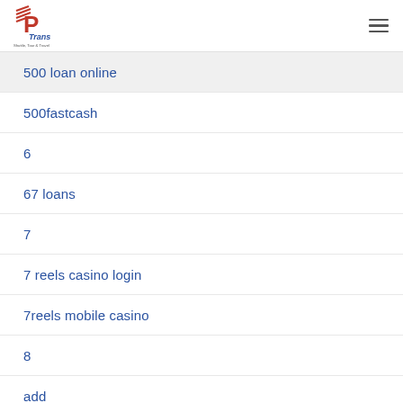[Figure (logo): P-Trans Shuttle, Tour & Travel logo with red stylized P and blue italic Trans text]
500 loan online
500fastcash
6
67 loans
7
7 reels casino login
7reels mobile casino
8
add
address check